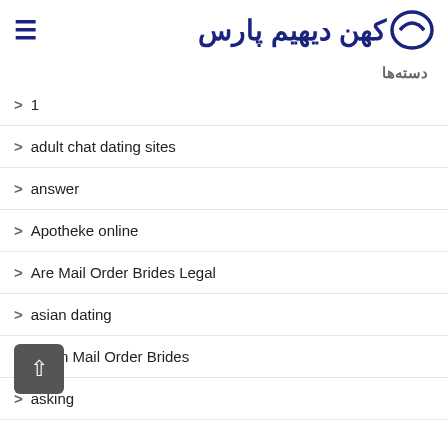کهن دیهیم پارس
دسته‌ها
1
adult chat dating sites
answer
Apotheke online
Are Mail Order Brides Legal
asian dating
Asian Mail Order Brides
asking